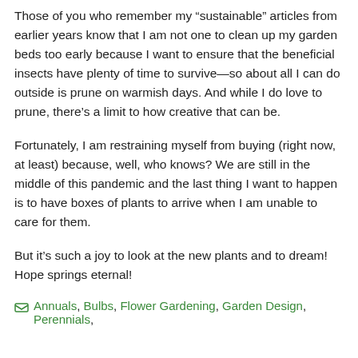Those of you who remember my “sustainable” articles from earlier years know that I am not one to clean up my garden beds too early because I want to ensure that the beneficial insects have plenty of time to survive—so about all I can do outside is prune on warmish days. And while I do love to prune, there’s a limit to how creative that can be.
Fortunately, I am restraining myself from buying (right now, at least) because, well, who knows? We are still in the middle of this pandemic and the last thing I want to happen is to have boxes of plants to arrive when I am unable to care for them.
But it’s such a joy to look at the new plants and to dream! Hope springs eternal!
Annuals, Bulbs, Flower Gardening, Garden Design, Perennials,